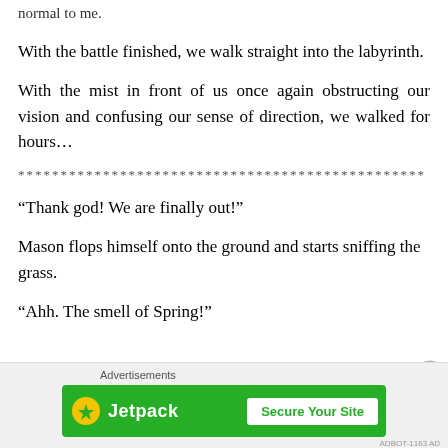normal to me.
With the battle finished, we walk straight into the labyrinth.
With the mist in front of us once again obstructing our vision and confusing our sense of direction, we walked for hours…
************************************************
“Thank god! We are finally out!”
Mason flops himself onto the ground and starts sniffing the grass.
“Ahh. The smell of Spring!”
[Figure (infographic): Jetpack advertisement banner with green background, Jetpack logo, and 'Secure Your Site' button]